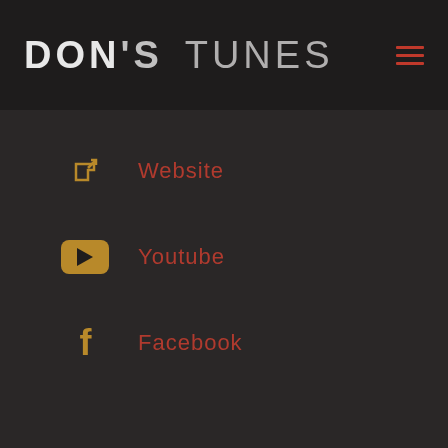DON'S TUNES
Website
Youtube
Facebook